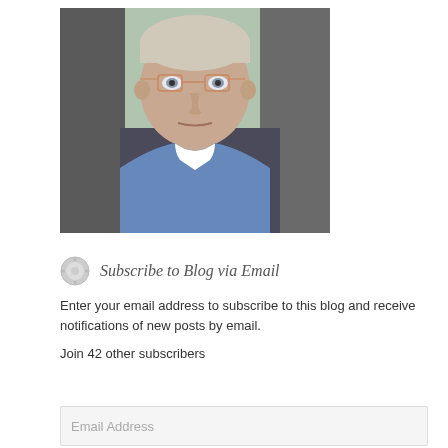[Figure (photo): A man wearing glasses and a blue clergy shirt with white clerical collar, taking a selfie in a car]
Subscribe to Blog via Email
Enter your email address to subscribe to this blog and receive notifications of new posts by email.
Join 42 other subscribers
Email Address